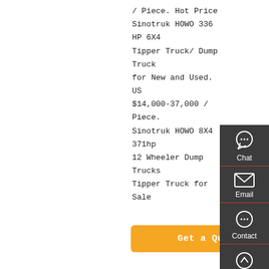/ Piece. Hot Price Sinotruk HOWO 336 HP 6X4 Tipper Truck/ Dump Truck for New and Used. US $14,000-37,000 / Piece. Sinotruk HOWO 8X4 371hp 12 Wheeler Dump Trucks Tipper Truck for Sale
[Figure (screenshot): Orange 'Get a Quote' button]
[Figure (photo): Rear view of a Sinotruk dump truck / tractor unit in a yard]
Sinotruk 371hp Dump Truck 6x4 Hohan 15ton 20ton Howo